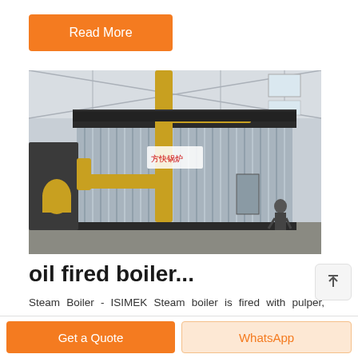Read More
[Figure (photo): Industrial oil fired steam boiler with corrugated metal casing and yellow gas pipes, installed in a factory warehouse. A person stands next to the boiler for scale. Chinese manufacturer logo visible on the unit.]
oil fired boiler...
Steam Boiler - ISIMEK Steam boiler is fired with pulper, sawdust, wood chips, olive pomace, 50% moisture content
Get a Quote
WhatsApp